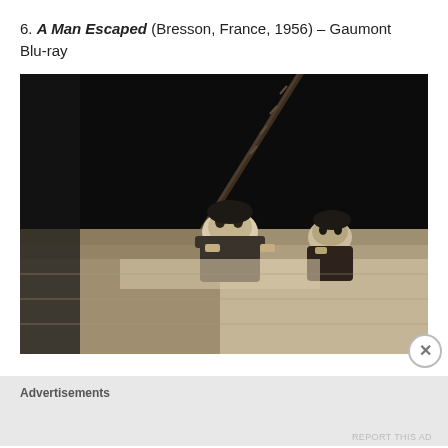6. A Man Escaped (Bresson, France, 1956) – Gaumont Blu-ray
[Figure (photo): Black and white film still from A Man Escaped (1956) directed by Robert Bresson. Two men are shown peering over a rooftop ledge at night, with a makeshift rope or pole visible diagonally in the upper portion of the frame.]
Advertisements